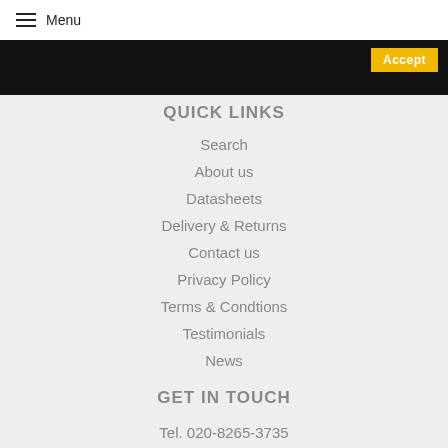Menu
QUICK LINKS
Search
About us
Datasheets
Delivery & Returns
Contact us
Privacy Policy
Terms & Condtions
Testimonials
News
GET IN TOUCH
Tel. 020-8265-3735
Email.  sales@lightvisuals.co.uk
NEWSLETTER